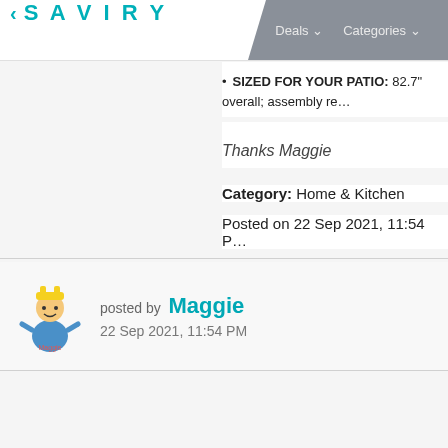< SAVIRY   Deals ▾   Categories ▾
SIZED FOR YOUR PATIO: 82.7" overall; assembly re…
Thanks Maggie
Category: Home & Kitchen
Posted on 22 Sep 2021, 11:54 P…
posted by  Maggie
22 Sep 2021, 11:54 PM